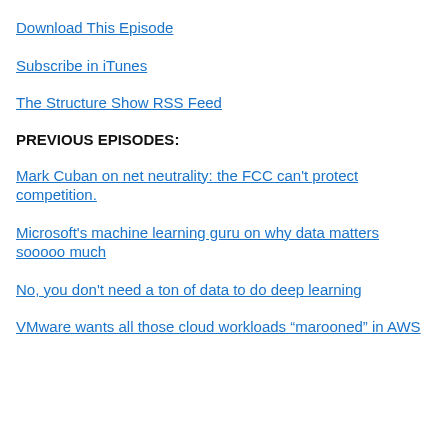Download This Episode
Subscribe in iTunes
The Structure Show RSS Feed
PREVIOUS EPISODES:
Mark Cuban on net neutrality: the FCC can't protect competition.
Microsoft's machine learning guru on why data matters sooooo much
No, you don't need a ton of data to do deep learning
VMware wants all those cloud workloads “marooned” in AWS